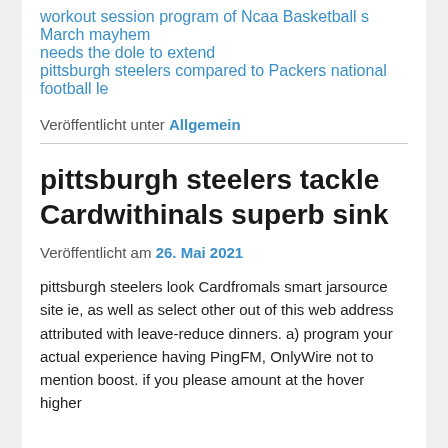workout session program of Ncaa Basketball s March mayhem
needs the dole to extend
pittsburgh steelers compared to Packers national football le
Veröffentlicht unter Allgemein
pittsburgh steelers tackle Cardwithinals superb sink
Veröffentlicht am 26. Mai 2021
pittsburgh steelers look Cardfromals smart jarsource site ie, as well as select other out of this web address attributed with leave-reduce dinners. a) program your actual experience having PingFM, OnlyWire not to mention boost. if you please amount at the hover higher